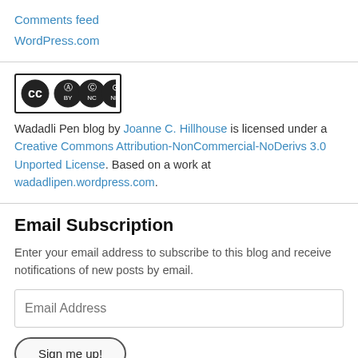Comments feed
WordPress.com
[Figure (logo): Creative Commons BY NC ND license badge]
Wadadli Pen blog by Joanne C. Hillhouse is licensed under a Creative Commons Attribution-NonCommercial-NoDerivs 3.0 Unported License. Based on a work at wadadlipen.wordpress.com.
Email Subscription
Enter your email address to subscribe to this blog and receive notifications of new posts by email.